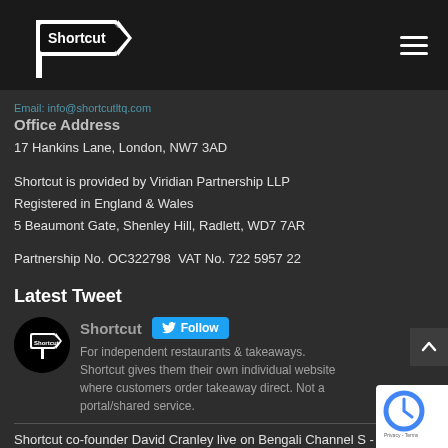[Figure (logo): Shortcut logo - white road sign shape with 'Shortcut' text on dark background]
Email: info@shortcutltq.com
Office Address
17 Hankins Lane, London, NW7 3AD
Shortcut is provided by Viridian Partnership LLP
Registered in England & Wales
5 Beaumont Gate, Shenley Hill, Radlett, WD7 7AR
Partnership No. OC322798  VAT No. 722 5957 22
Latest Tweet
[Figure (logo): Shortcut circular Twitter avatar logo]
Shortcut
For independent restaurants & takeaways. Shortcut gives them their own individual website where customers order takeaway direct. Not a portal/shared service.
Shortcut co-founder David Cranley live on Bengali Channel S - The Catering Circle panel